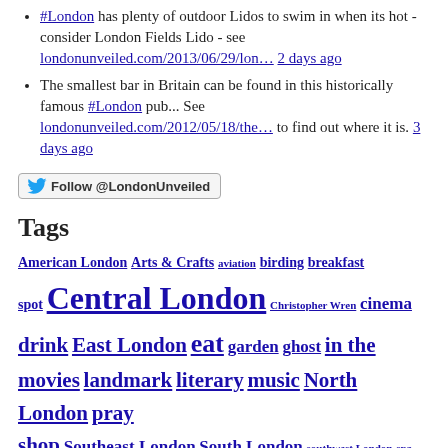#London has plenty of outdoor Lidos to swim in when its hot - consider London Fields Lido - see londonunveiled.com/2013/06/29/lon… 2 days ago
The smallest bar in Britain can be found in this historically famous #London pub... See londonunveiled.com/2012/05/18/the… to find out where it is. 3 days ago
Follow @LondonUnveiled
Tags
American London Arts & Crafts aviation birding breakfast spot Central London Christopher Wren cinema drink East London eat garden ghost in the movies landmark literary music North London pray shop Southeast London South London southwest London spa special occasion sports Stately home tea theatre view walk West London William Shakespeare World War I World War II Wren